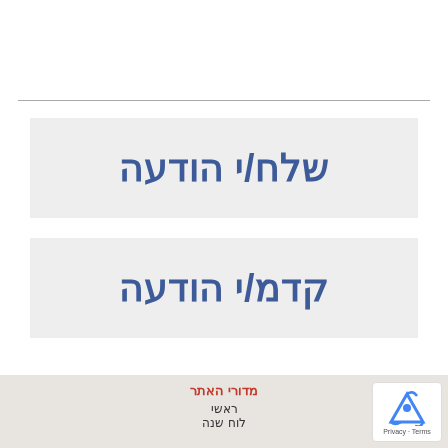שלח/י הודעה
קדמ/י הודעה
מדורי האתר
ראשי
לוח שנה